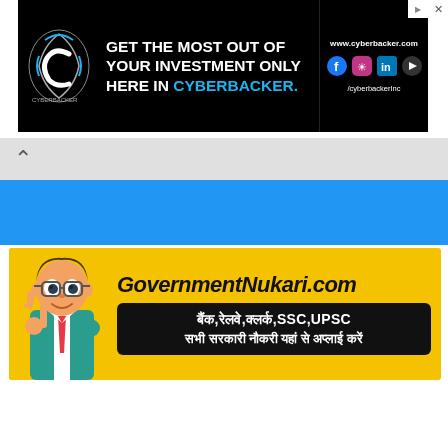[Figure (infographic): Cyberbacker advertisement banner: dark background with logo on left, text 'GET THE MOST OUT OF YOUR INVESTMENT ONLY HERE IN CYBERBACKER.' in white and cyan, and social media icons with website www.cyberbacker.com on right.]
[Figure (infographic): GovernmentNukari.com advertisement banner on yellow background with cartoon character giving thumbs up, site title in bold italic, and Hindi text on dark box: 'बैंक,रेलवे,क्लर्क,SSC,UPSC सभी सरकारी नौकरी यहां से अप्लाई करें']